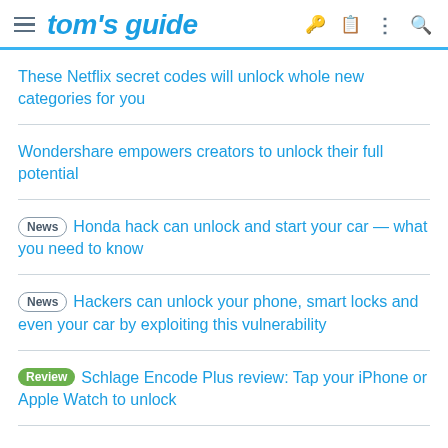tom's guide
These Netflix secret codes will unlock whole new categories for you
Wondershare empowers creators to unlock their full potential
News Honda hack can unlock and start your car — what you need to know
News Hackers can unlock your phone, smart locks and even your car by exploiting this vulnerability
Review Schlage Encode Plus review: Tap your iPhone or Apple Watch to unlock